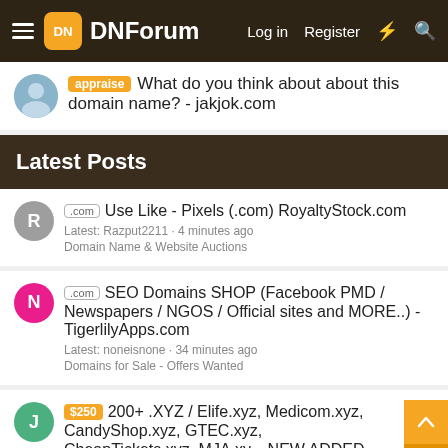DNForum — Log in  Register
appraise  What do you think about about this domain name? - jakjok.com
Latest Posts
.com  Use Like - Pixels (.com) RoyaltyStock.com
Latest: Razput2211 · 4 minutes ago
Domain Name & Website Auctions
.com  SEO Domains SHOP (Facebook PMD / Newspapers / NGOS / Official sites and MORE..) - TigerlilyApps.com
Latest: noneisnone · 34 minutes ago
Domains for Sale - Offers Wanted
$250  200+ .XYZ / Elife.xyz, Medicom.xyz, CandyShop.xyz, GTEC.xyz, CheapTickets.xyz, MJA.xy... NEW ADDED
Latest: jimakos · 41 minutes ago